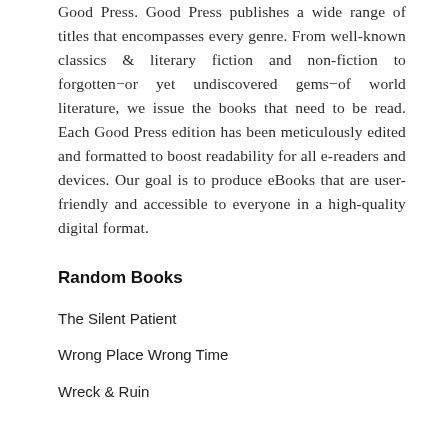Good Press. Good Press publishes a wide range of titles that encompasses every genre. From well-known classics & literary fiction and non-fiction to forgotten−or yet undiscovered gems−of world literature, we issue the books that need to be read. Each Good Press edition has been meticulously edited and formatted to boost readability for all e-readers and devices. Our goal is to produce eBooks that are user-friendly and accessible to everyone in a high-quality digital format.
Random Books
The Silent Patient
Wrong Place Wrong Time
Wreck & Ruin